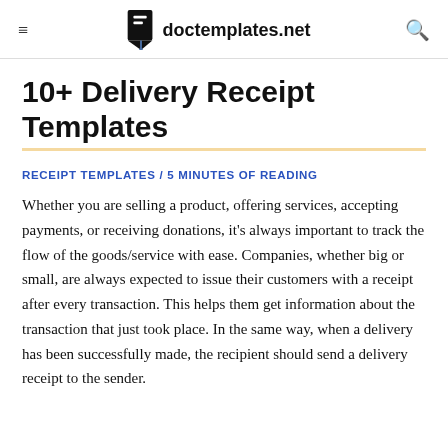≡   doctemplates.net   🔍
10+ Delivery Receipt Templates
RECEIPT TEMPLATES / 5 MINUTES OF READING
Whether you are selling a product, offering services, accepting payments, or receiving donations, it's always important to track the flow of the goods/service with ease. Companies, whether big or small, are always expected to issue their customers with a receipt after every transaction. This helps them get information about the transaction that just took place. In the same way, when a delivery has been successfully made, the recipient should send a delivery receipt to the sender.